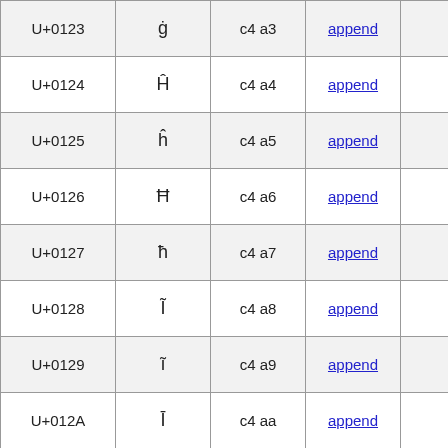| U+0123 | ġ | c4 a3 | append |  |
| U+0124 | Ĥ | c4 a4 | append |  |
| U+0125 | ĥ | c4 a5 | append |  |
| U+0126 | Ħ | c4 a6 | append |  |
| U+0127 | ħ | c4 a7 | append |  |
| U+0128 | Ĩ | c4 a8 | append |  |
| U+0129 | ĩ | c4 a9 | append |  |
| U+012A | Ī | c4 aa | append |  |